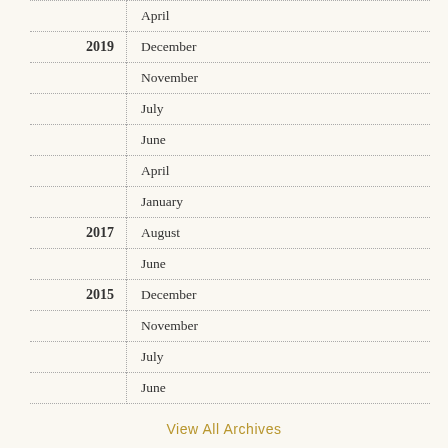| Year | Month |
| --- | --- |
|  | April |
| 2019 | December |
|  | November |
|  | July |
|  | June |
|  | April |
|  | January |
| 2017 | August |
|  | June |
| 2015 | December |
|  | November |
|  | July |
|  | June |
View All Archives